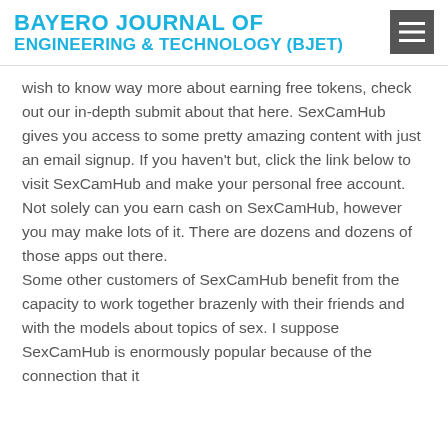BAYERO JOURNAL OF ENGINEERING & TECHNOLOGY (BJET)
wish to know way more about earning free tokens, check out our in-depth submit about that here. SexCamHub gives you access to some pretty amazing content with just an email signup. If you haven't but, click the link below to visit SexCamHub and make your personal free account. Not solely can you earn cash on SexCamHub, however you may make lots of it. There are dozens and dozens of those apps out there. Some other customers of SexCamHub benefit from the capacity to work together brazenly with their friends and with the models about topics of sex. I suppose SexCamHub is enormously popular because of the connection that it